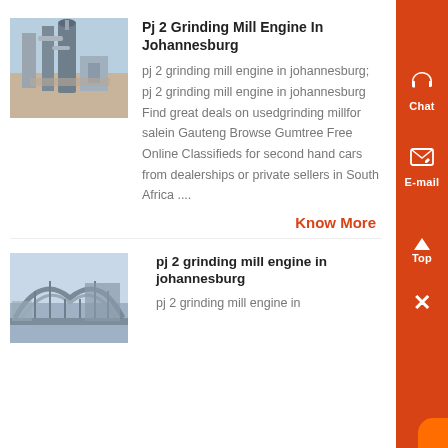[Figure (photo): Industrial grinding mill facility with large cylindrical structures and pipes, outdoor industrial setting]
Pj 2 Grinding Mill Engine In Johannesburg
pj 2 grinding mill engine in johannesburg; pj 2 grinding mill engine in johannesburg Find great deals on usedgrinding millfor salein Gauteng Browse Gumtree Free Online Classifieds for second hand cars from dealerships or private sellers in South Africa ....
Know More
[Figure (photo): Industrial facility with arched metal bridge structures and industrial equipment]
pj 2 grinding mill engine in johannesburg
pj 2 grinding mill engine in